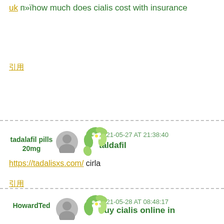uk п»їhow much does cialis cost with insurance
引用
2021-05-27 AT 21:38:40
tadalafil pills 20mg
taldafil
https://tadalisxs.com/ cirla
引用
2021-05-28 AT 08:48:17
HowardTed
buy cialis online in